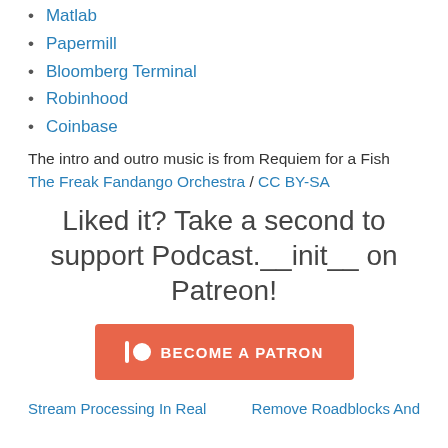Matlab
Papermill
Bloomberg Terminal
Robinhood
Coinbase
The intro and outro music is from Requiem for a Fish The Freak Fandango Orchestra / CC BY-SA
Liked it? Take a second to support Podcast.__init__ on Patreon!
[Figure (other): Patreon 'Become a Patron' button in orange/coral color]
Stream Processing In Real   Remove Roadblocks And